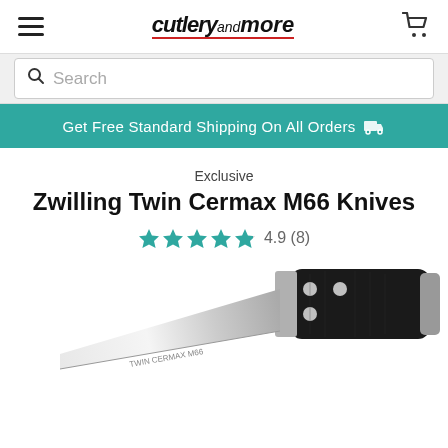cutleryandmore
Search
Get Free Standard Shipping On All Orders
Exclusive
Zwilling Twin Cermax M66 Knives
4.9 (8)
[Figure (photo): Zwilling Twin Cermax M66 knife with black riveted handle and silver blade, shown at angle]